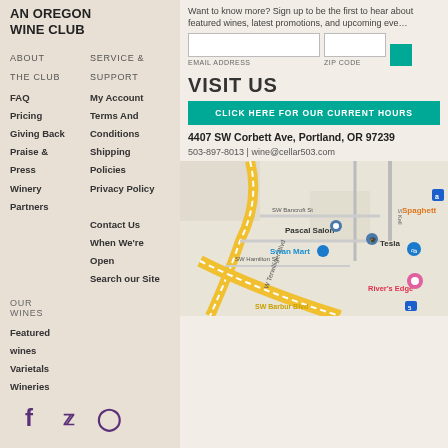AN OREGON WINE CLUB
Want to know more? Sign up to be the first to hear about featured wines, latest promotions, and upcoming events.
EMAIL ADDRESS | ZIP CODE
VISIT US
CLICK HERE FOR OUR CURRENT HOURS
4407 SW Corbett Ave, Portland, OR 97239
503-897-8013 | wine@cellar503.com
[Figure (map): Google map showing 4407 SW Corbett Ave area in Portland OR, with street labels including SW Terwilliger Blvd, SW Bancroft St, SW Hamilton St, SW Barbur Blvd, S Kell, and nearby businesses Pascal Salon, Swan Mart, Tesla, River's Edge, Spaghetti visible.]
ABOUT THE CLUB
SERVICE & SUPPORT
FAQ
My Account
Pricing
Terms And
Giving Back
Conditions
Praise & Press
Shipping Policies
Winery Partners
Privacy Policy
Contact Us
When We're Open
OUR WINES
Featured wines
Search our Site
Varietals
Wineries